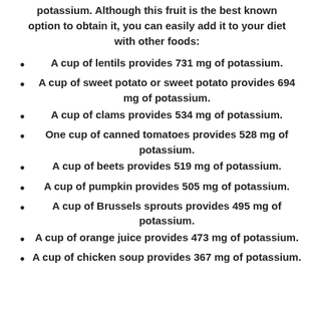potassium. Although this fruit is the best known option to obtain it, you can easily add it to your diet with other foods:
A cup of lentils provides 731 mg of potassium.
A cup of sweet potato or sweet potato provides 694 mg of potassium.
A cup of clams provides 534 mg of potassium.
One cup of canned tomatoes provides 528 mg of potassium.
A cup of beets provides 519 mg of potassium.
A cup of pumpkin provides 505 mg of potassium.
A cup of Brussels sprouts provides 495 mg of potassium.
A cup of orange juice provides 473 mg of potassium.
A cup of chicken soup provides 367 mg of potassium.